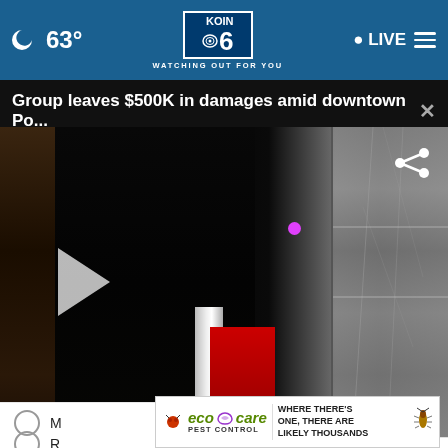🌙 63° | KOIN 6 CBS | WATCHING OUT FOR YOU | LIVE
Group leaves $500K in damages amid downtown Po...
[Figure (screenshot): Video thumbnail showing a dark scene with a person in black clothing near broken glass, a red object and white cylinder visible, with a pink light dot, and shattered glass panel on the right. A white play button triangle is on the left side.]
More damaging to the Democratic nominee
[Figure (other): eco care PEST CONTROL advertisement: WHERE THERE'S ONE, THERE ARE LIKELY THOUSANDS]